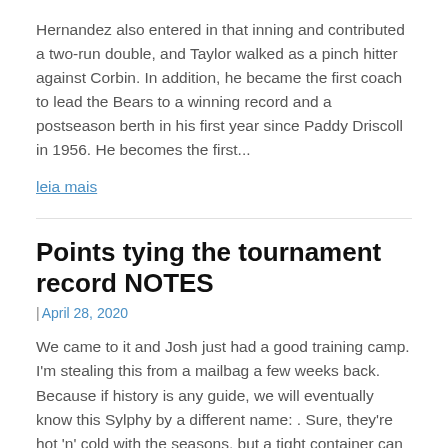Hernandez also entered in that inning and contributed a two-run double, and Taylor walked as a pinch hitter against Corbin. In addition, he became the first coach to lead the Bears to a winning record and a postseason berth in his first year since Paddy Driscoll in 1956. He becomes the first...
leia mais
Points tying the tournament record NOTES
| April 28, 2020
We came to it and Josh just had a good training camp. I'm stealing this from a mailbag a few weeks back. Because if history is any guide, we will eventually know this Sylphy by a different name: . Sure, they're hot 'n' cold with the seasons, but a tight container can be fairly safely used as a portable garage. Never much one for hyperbolically